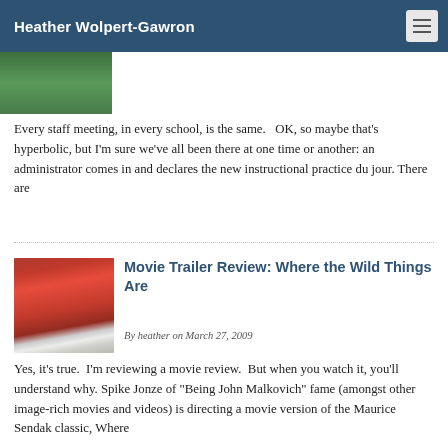Heather Wolpert-Gawron
[Figure (photo): Partial photo visible at top of page, appears to show a person outdoors with green background]
Every staff meeting, in every school, is the same.   OK, so maybe that’s hyperbolic, but I’m sure we’ve all been there at one time or another: an administrator comes in and declares the new instructional practice du jour. There are
Movie Trailer Review: Where the Wild Things Are
[Figure (photo): Photo of red binder/folders stacked on a surface]
By heather on March 27, 2009
Yes, it’s true.  I’m reviewing a movie review.  But when you watch it, you’ll understand why. Spike Jonze of “Being John Malkovich” fame (amongst other image-rich movies and videos) is directing a movie version of the Maurice Sendak classic, Where